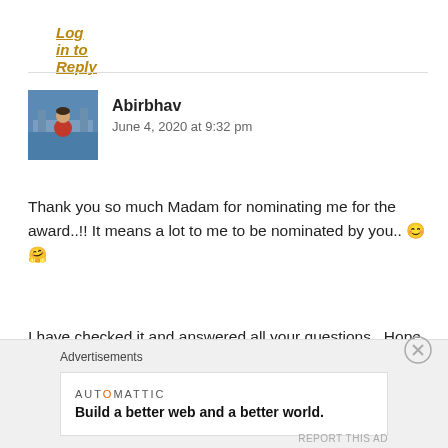Log in to Reply
[Figure (photo): Avatar photo of Abirbhav - person in red shirt with a bridge/water in background]
Abirbhav
June 4, 2020 at 9:32 pm
Thank you so much Madam for nominating me for the award..!! It means a lot to me to be nominated by you.. 😊🤗
I have checked it and answered all your questions.. Hope you like reading them.. 😊😊
Advertisements
AUTOMATTIC
Build a better web and a better world.